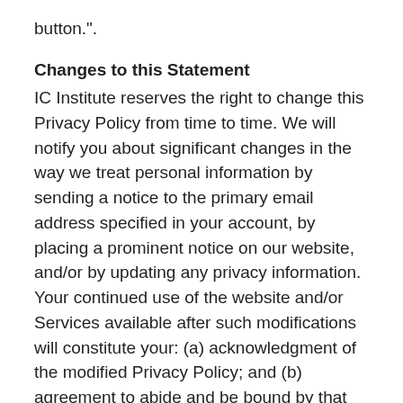button.".
Changes to this Statement
IC Institute reserves the right to change this Privacy Policy from time to time. We will notify you about significant changes in the way we treat personal information by sending a notice to the primary email address specified in your account, by placing a prominent notice on our website, and/or by updating any privacy information. Your continued use of the website and/or Services available after such modifications will constitute your: (a) acknowledgment of the modified Privacy Policy; and (b) agreement to abide and be bound by that Policy.
Contact Information
IC Institute welcomes your questions or comments